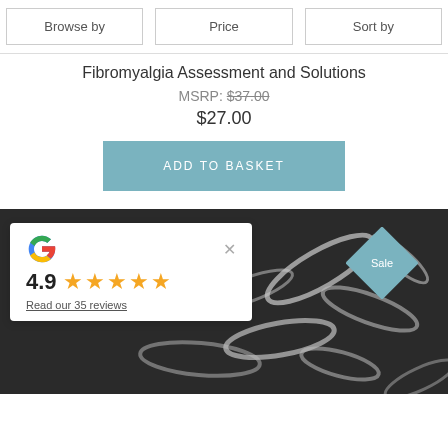Browse by | Price | Sort by
Fibromyalgia Assessment and Solutions
MSRP: $37.00
$27.00
ADD TO BASKET
[Figure (screenshot): Dark background image with white swirling shapes (fibromyalgia-related imagery), overlaid with a Google review widget showing 4.9 stars and 35 reviews, and a teal diamond Sale badge in the top right.]